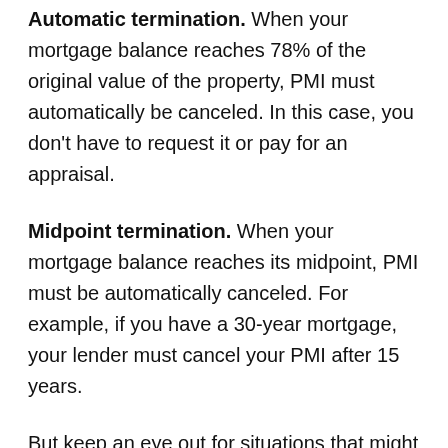Automatic termination. When your mortgage balance reaches 78% of the original value of the property, PMI must automatically be canceled. In this case, you don't have to request it or pay for an appraisal.
Midpoint termination. When your mortgage balance reaches its midpoint, PMI must be automatically canceled. For example, if you have a 30-year mortgage, your lender must cancel your PMI after 15 years.
But keep an eye out for situations that might allow you to cancel PMI early, like when your home value appreciates due to market conditions. When your home value goes up, it lowers your LTV. Likewise, if you make additional mortgage payments that reduce your principal loan balance, it lowers your LTV. The faster you